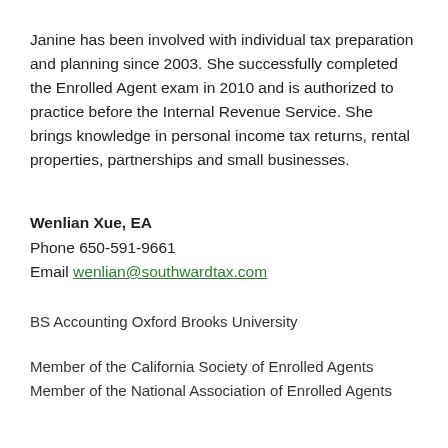Janine has been involved with individual tax preparation and planning since 2003. She successfully completed the Enrolled Agent exam in 2010 and is authorized to practice before the Internal Revenue Service. She brings knowledge in personal income tax returns, rental properties, partnerships and small businesses.
Wenlian Xue, EA
Phone 650-591-9661
Email wenlian@southwardtax.com
BS Accounting Oxford Brooks University
Member of the California Society of Enrolled Agents
Member of the National Association of Enrolled Agents